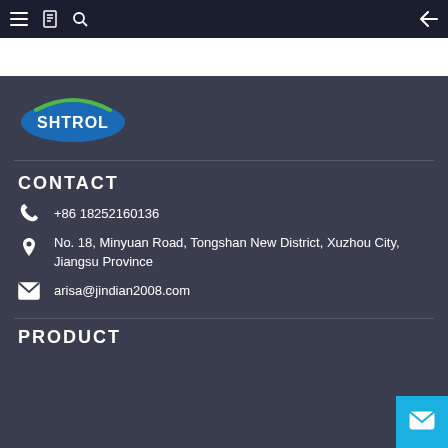Navigation bar with menu, bookmark, search icons and back arrow
[Figure (logo): SHTROL company logo — blue ellipse with green swoosh and blue text]
CONTACT
+86 18252160136
No. 18, Minyuan Road, Tongshan New District, Xuzhou City, Jiangsu Province
arisa@jindian2008.com
PRODUCT